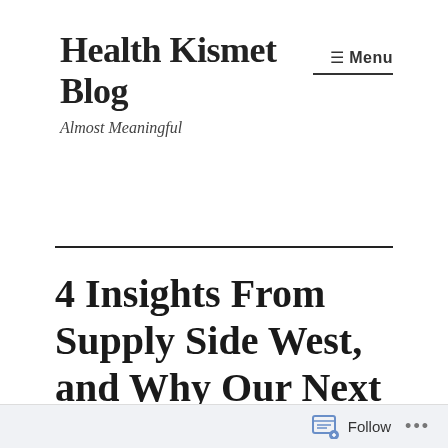Health Kismet Blog
Almost Meaningful
4 Insights From Supply Side West, and Why Our Next Product's Going to be a Doozy
Follow